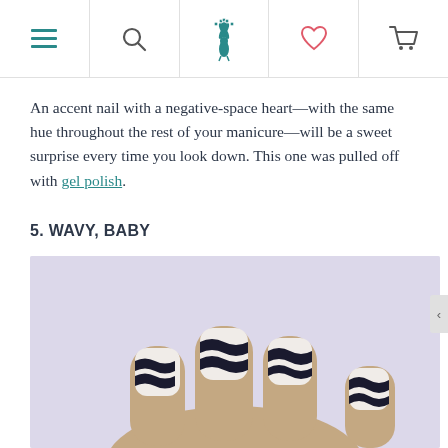Navigation bar with hamburger menu, search, peacock logo, heart/wishlist, and cart icons
An accent nail with a negative-space heart—with the same hue throughout the rest of your manicure—will be a sweet surprise every time you look down. This one was pulled off with gel polish.
5. WAVY, BABY
[Figure (photo): Close-up photo of a hand showing fingernails with black and white wavy stripe nail art pattern on a light lavender background.]